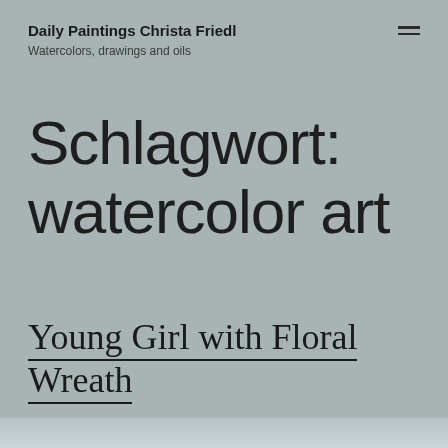Daily Paintings Christa Friedl
Watercolors, drawings and oils
Schlagwort: watercolor art
Young Girl with Floral Wreath
[Figure (photo): Partial thumbnail strip of a painting at the bottom of the page]